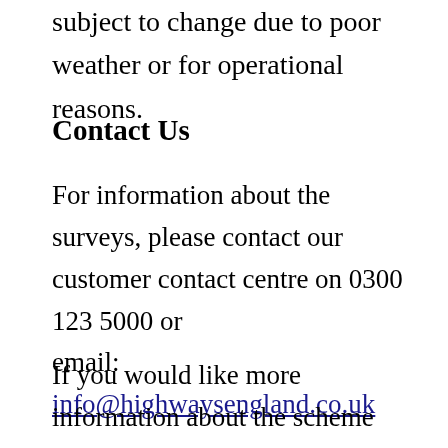subject to change due to poor weather or for operational reasons.
Contact Us
For information about the surveys, please contact our customer contact centre on 0300 123 5000 or email: info@highwaysengland.co.uk
If you would like more information about the scheme including planned closure details, please visit our website